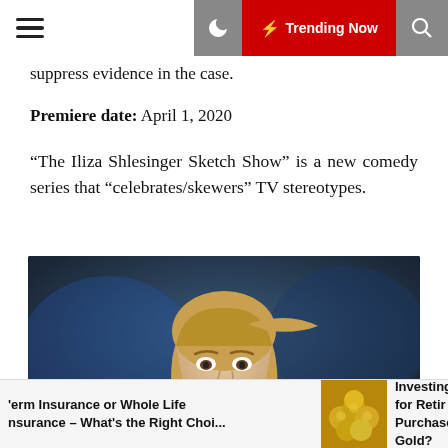Trending Now
suppress evidence in the case.
Premiere date: April 1, 2020
“The Iliza Shlesinger Sketch Show” is a new comedy series that “celebrates/skewers” TV stereotypes.
[Figure (photo): Woman with blonde hair pulled back, wearing black top and gold necklace, holding a microphone, performing on a dark stage with blue lighting.]
‘erm Insurance or Whole Life nsurance – What’s the Right Choi...
Investing for Retir Purchase Gold?